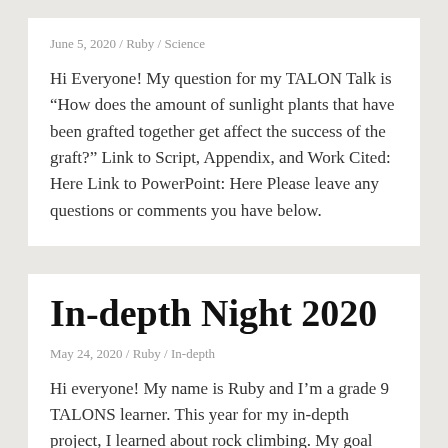June 5, 2020 / Ruby / Science
Hi Everyone! My question for my TALON Talk is “How does the amount of sunlight plants that have been grafted together get affect the success of the graft?” Link to Script, Appendix, and Work Cited: Here Link to PowerPoint: Here Please leave any questions or comments you have below.
In-depth Night 2020
May 24, 2020 / Ruby / In-depth
Hi everyone! My name is Ruby and I’m a grade 9 TALONS learner. This year for my in-depth project, I learned about rock climbing. My goal was to learn